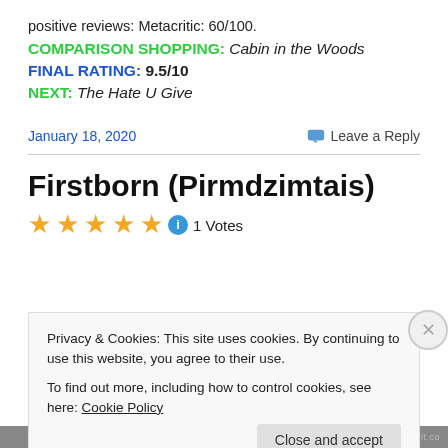positive reviews: Metacritic: 60/100.
COMPARISON SHOPPING: Cabin in the Woods
FINAL RATING: 9.5/10
NEXT: The Hate U Give
January 18, 2020
Leave a Reply
Firstborn (Pirmdzimtais)
★★★★★ ℹ 1 Votes
Privacy & Cookies: This site uses cookies. By continuing to use this website, you agree to their use.
To find out more, including how to control cookies, see here: Cookie Policy